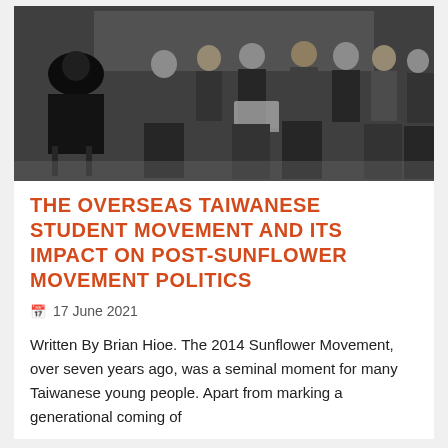[Figure (photo): Black and white photograph of a group of young Asian people seated in a room, appearing to be attending a lecture or discussion. One person on the left faces away from the camera, appearing to be speaking to the audience. Several attendees have laptops open.]
THE OVERSEAS TAIWANESE STUDENT MOVEMENT AND ITS IMPACT ON POST-SUNFLOWER MOVEMENT POLITICS
17 June 2021
Written By Brian Hioe. The 2014 Sunflower Movement, over seven years ago, was a seminal moment for many Taiwanese young people. Apart from marking a generational coming of